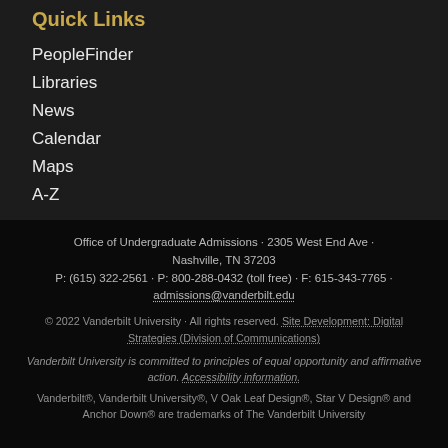Quick Links
PeopleFinder
Libraries
News
Calendar
Maps
A-Z
Office of Undergraduate Admissions · 2305 West End Ave · Nashville, TN 37203
P: (615) 322-2561 · P: 800-288-0432 (toll free) · F: 615-343-7765 · admissions@vanderbilt.edu
© 2022 Vanderbilt University · All rights reserved. Site Development: Digital Strategies (Division of Communications)
Vanderbilt University is committed to principles of equal opportunity and affirmative action. Accessibility information.
Vanderbilt®, Vanderbilt University®, V Oak Leaf Design®, Star V Design® and Anchor Down® are trademarks of The Vanderbilt University